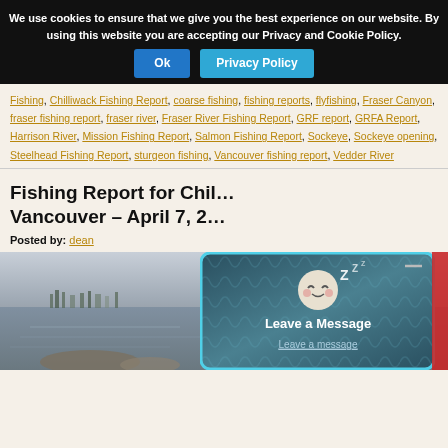We use cookies to ensure that we give you the best experience on our website. By using this website you are accepting our Privacy and Cookie Policy.
Ok | Privacy Policy
Fishing, Chilliwack Fishing Report, coarse fishing, fishing reports, flyfishing, Fraser Canyon, fraser fishing report, fraser river, Fraser River Fishing Report, GRF report, GRFA Report, Harrison River, Mission Fishing Report, Salmon Fishing Report, Sockeye, Sockeye opening, Steelhead Fishing Report, sturgeon fishing, Vancouver fishing report, Vedder River
Fishing Report for Chilliwack Vancouver – April 7, 2...
Posted by: dean
[Figure (photo): Photograph of a river scene with grey water and distant treeline, partially obscured by a popup dialog]
[Figure (screenshot): Popup dialog with dark teal wave background, sleeping face emoji with Z letters, text 'Leave a Message' and 'Leave a message' link, with a dash/minimize button in top right, and cyan border]